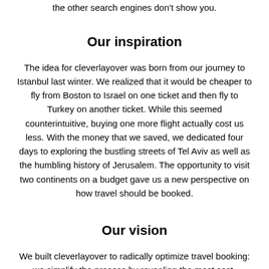the other search engines don't show you.
Our inspiration
The idea for cleverlayover was born from our journey to Istanbul last winter. We realized that it would be cheaper to fly from Boston to Israel on one ticket and then fly to Turkey on another ticket. While this seemed counterintuitive, buying one more flight actually cost us less. With the money that we saved, we dedicated four days to exploring the bustling streets of Tel Aviv as well as the humbling history of Jerusalem. The opportunity to visit two continents on a budget gave us a new perspective on how travel should be booked.
Our vision
We built cleverlayover to radically optimize travel booking: we simplify the process by revealing the most cost-effective layovers, and we display search results from low-cost carriers that are not partnered with the major airlines to give travelers a broader range of flight